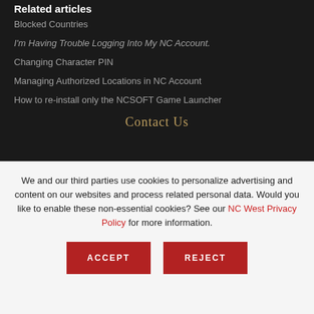Related articles
Blocked Countries
I'm Having Trouble Logging Into My NC Account.
Changing Character PIN
Managing Authorized Locations in NC Account
How to re-install only the NCSOFT Game Launcher
Contact Us
We and our third parties use cookies to personalize advertising and content on our websites and process related personal data. Would you like to enable these non-essential cookies? See our NC West Privacy Policy for more information.
ACCEPT
REJECT